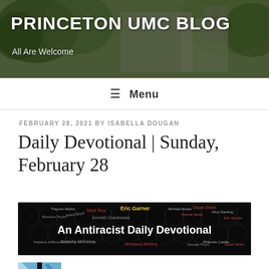PRINCETON UMC BLOG
All Are Welcome
≡ Menu
FEBRUARY 28, 2021 BY ISABELLA DOUGAN
Daily Devotional | Sunday, February 28
[Figure (illustration): An Antiracist Daily Devotional banner image with names of Black victims on a dark background with hexagonal pattern]
[Figure (logo): United Methodists of Greater New Jersey logo with cross and flame symbol]